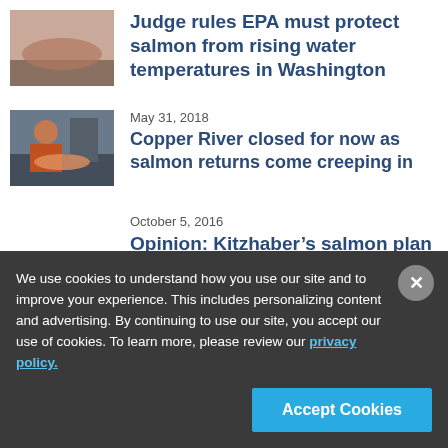[Figure (photo): Partially visible photo of salmon at top left]
Judge rules EPA must protect salmon from rising water temperatures in Washington
May 31, 2018
[Figure (photo): Photo of a man in orange jacket holding a large salmon on a dock]
Copper River closed for now as salmon returns come creeping in
October 5, 2016
Opinion: Kitzhaber’s salmon plan a mismatch
We use cookies to understand how you use our site and to improve your experience. This includes personalizing content and advertising. By continuing to use our site, you accept our use of cookies. To learn more, please review our privacy policy.